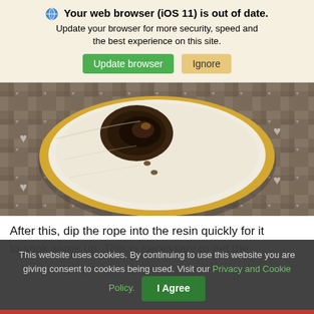🌐 Your web browser (iOS 11) is out of date. Update your browser for more security, speed and the best experience on this site.
Update browser | Ignore
[Figure (photo): Top-down view of a halved yellow citrus fruit (pomelo or grapefruit) on a plaid tablecloth, showing the interior with seeds and dark resin/liquid in the center cavity.]
After this, dip the rope into the resin quickly for it to soak some up. This is necessary to get the
This website uses cookies. By continuing to use this website you are giving consent to cookies being used. Visit our Privacy and Cookie Policy. | I Agree